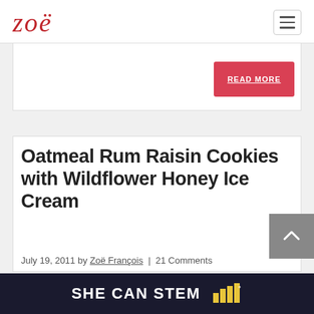zoë
READ MORE
Oatmeal Rum Raisin Cookies with Wildflower Honey Ice Cream
July 19, 2011 by Zoë François | 21 Comments
SHE CAN STEM